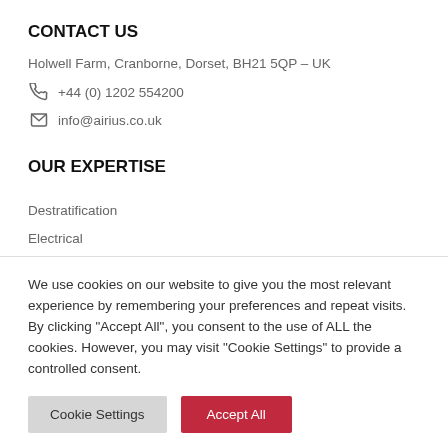CONTACT US
Holwell Farm, Cranborne, Dorset, BH21 5QP – UK
+44 (0) 1202 554200
info@airius.co.uk
OUR EXPERTISE
Destratification
Electrical
We use cookies on our website to give you the most relevant experience by remembering your preferences and repeat visits. By clicking "Accept All", you consent to the use of ALL the cookies. However, you may visit "Cookie Settings" to provide a controlled consent.
Cookie Settings | Accept All